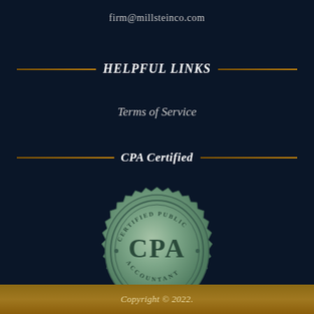firm@millsteinco.com
HELPFUL LINKS
Terms of Service
CPA Certified
[Figure (logo): Circular CPA certification seal in sage green color with text 'CERTIFIED PUBLIC ACCOUNTANT' around the border and 'CPA' in large letters in the center, featuring a starburst/serrated edge]
Copyright © 2022.